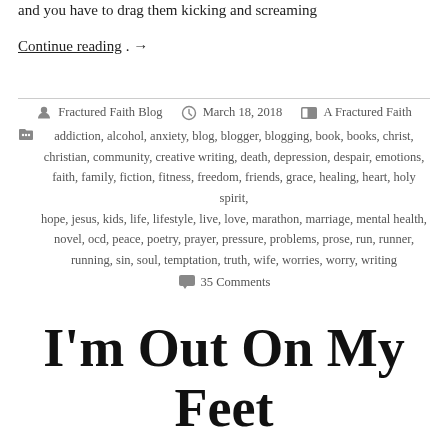and you have to drag them kicking and screaming
Continue reading . →
Fractured Faith Blog · March 18, 2018 · A Fractured Faith · addiction, alcohol, anxiety, blog, blogger, blogging, book, books, christ, christian, community, creative writing, death, depression, despair, emotions, faith, family, fiction, fitness, freedom, friends, grace, healing, heart, holy spirit, hope, jesus, kids, life, lifestyle, live, love, marathon, marriage, mental health, novel, ocd, peace, poetry, prayer, pressure, problems, prose, run, runner, running, sin, soul, temptation, truth, wife, worries, worry, writing · 35 Comments
I'm Out On My Feet